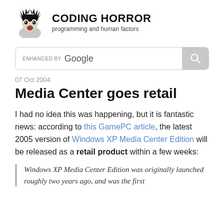[Figure (logo): Coding Horror logo: cartoon man with spiky hair looking shocked]
CODING HORROR
programming and human factors
[Figure (other): Google search bar with 'ENHANCED BY Google' text and search icon button]
07 Oct 2004
Media Center goes retail
I had no idea this was happening, but it is fantastic news: according to this GamePC article, the latest 2005 version of Windows XP Media Center Edition will be released as a retail product within a few weeks:
Windows XP Media Center Edition was originally launched roughly two years ago, and was the first